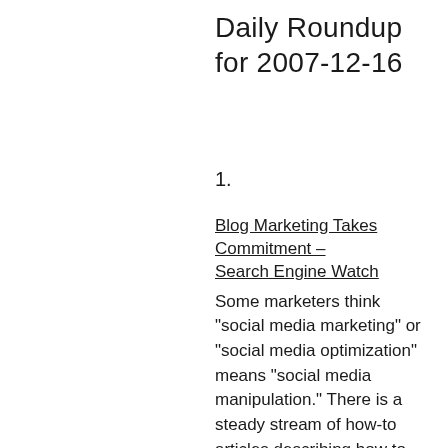Daily Roundup for 2007-12-16
1.
Blog Marketing Takes Commitment – Search Engine Watch
Some marketers think "social media marketing" or "social media optimization" means "social media manipulation." There is a steady stream of how-to articles describing how to game the system of sites like Digg, or to develop linkbait to drive untargeted traffic to your site.  A better way to approach social media is to remember that behind every successful blog is a person.